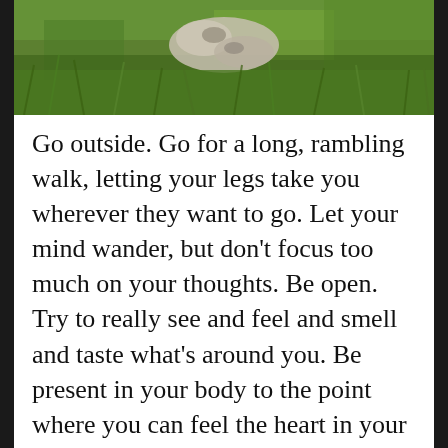[Figure (photo): Photograph of a dog or animal lying in tall green grass, viewed from above, partially cropped at top.]
Go outside. Go for a long, rambling walk, letting your legs take you wherever they want to go. Let your mind wander, but don't focus too much on your thoughts. Be open. Try to really see and feel and smell and taste what's around you. Be present in your body to the point where you can feel the heart in your chest swell and throb as it circulates the blood through you, the “slow, wet mechanism of muscle and bone” that allows you to stride aimlessly through the city streets. Breathe. Breathe. Empty your mind of all thoughts but the sight of him...